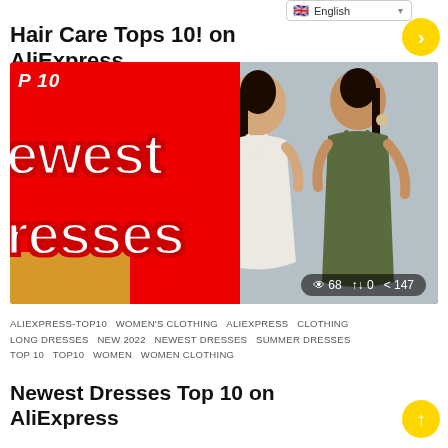English
Hair Care Tops 10! on AliExpress
[Figure (photo): Thumbnail image showing two women in satin dresses against a grey background, with a red overlay on the left side reading 'OP 10 / ewest / resses'. Stats show: 68 views, 0 reposts, 147 shares.]
ALIEXPRESS-TOP10   WOMEN'S CLOTHING   ALIEXPRESS   CLOTHING   LONG DRESSES   NEW 2022   NEWEST DRESSES   SUMMER DRESSES   TOP 10   TOP10   WOMEN   WOMEN CLOTHING
Newest Dresses Top 10 on AliExpress